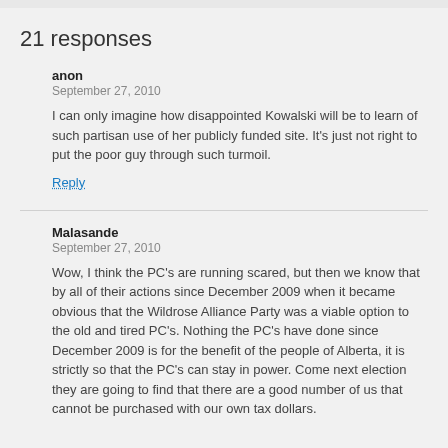21 responses
anon
September 27, 2010

I can only imagine how disappointed Kowalski will be to learn of such partisan use of her publicly funded site. It's just not right to put the poor guy through such turmoil.
Reply
Malasande
September 27, 2010

Wow, I think the PC's are running scared, but then we know that by all of their actions since December 2009 when it became obvious that the Wildrose Alliance Party was a viable option to the old and tired PC's. Nothing the PC's have done since December 2009 is for the benefit of the people of Alberta, it is strictly so that the PC's can stay in power. Come next election they are going to find that there are a good number of us that cannot be purchased with our own tax dollars.